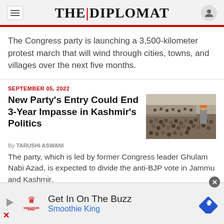THE | DIPLOMAT
The Congress party is launching a 3,500-kilometer protest march that will wind through cities, towns, and villages over the next five months.
SEPTEMBER 05, 2022
New Party's Entry Could End 3-Year Impasse in Kashmir's Politics
By TARUSHI ASWANI
The party, which is led by former Congress leader Ghulam Nabi Azad, is expected to divide the anti-BJP vote in Jammu and Kashmir.
[Figure (photo): Crowd of people at a political rally with a speaker facing a large audience]
Get In On The Buzz
Smoothie King